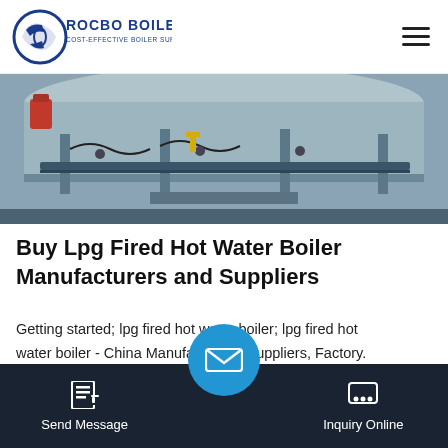[Figure (logo): ROCBO BOILER logo - blue circular icon with rocket/boiler motif, text ROCBO BOILER and subtitle COST-EFFECTIVE BOILER SUPPLIER]
[Figure (photo): Industrial boiler underside/burner assembly photo showing pipes, wiring, and metal components on a boiler unit]
Buy Lpg Fired Hot Water Boiler Manufacturers and Suppliers
Getting started; lpg fired hot water boiler; lpg fired hot water boiler - China Manufacturers, Suppliers, Factory. Our products are greatly recognized and trustworthy by users and will fulfill continually shifting economic and social requires for lpg fired hot water boiler...
[Figure (other): Get Price green button]
Send Message | Inquiry Online